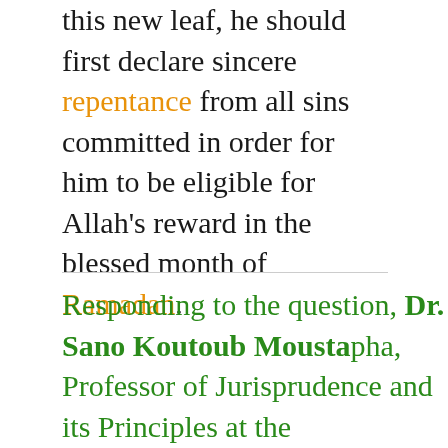this new leaf, he should first declare sincere repentance from all sins committed in order for him to be eligible for Allah's reward in the blessed month of Ramadan.
Responding to the question, Dr. Sano Koutoub Moustapha, Professor of Jurisprudence and its Principles at the International Islamic University, Malaysia, states: